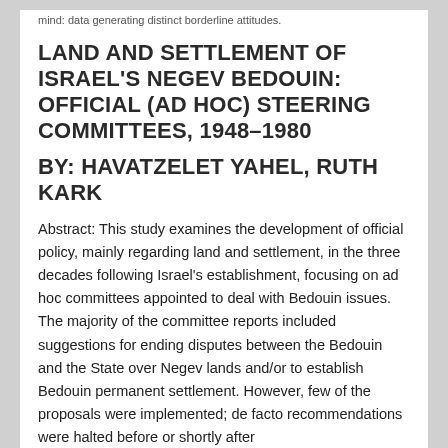mind: data generating distinct borderline attitudes.
LAND AND SETTLEMENT OF ISRAEL'S NEGEV BEDOUIN: OFFICIAL (AD HOC) STEERING COMMITTEES, 1948–1980
BY: HAVATZELET YAHEL, RUTH KARK
Abstract: This study examines the development of official policy, mainly regarding land and settlement, in the three decades following Israel's establishment, focusing on ad hoc committees appointed to deal with Bedouin issues. The majority of the committee reports included suggestions for ending disputes between the Bedouin and the State over Negev lands and/or to establish Bedouin permanent settlement. However, few of the proposals were implemented; de facto recommendations were halted before or shortly after